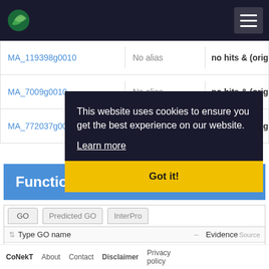CoNekT navigation bar with logo
| ID | Alias | Description |
| --- | --- | --- |
| MA_119398g0010 | No alias | no hits & (original description: no... |
| MA_7009g0010 | No alias | no hits & (original description: no... |
| MA_772037g0010 | No alias | no hits & (original description: no... |
Functional Annotation
| GO | Predicted GO | InterPro |
| --- | --- | --- |
| Type | GO name | Evidence | Source |
| No GO annotation available for this sequence |  |  |  |
This website uses cookies to ensure you get the best experience on our website. Learn more
Got it!
CoNekT  About  Contact  Disclaimer  Privacy policy